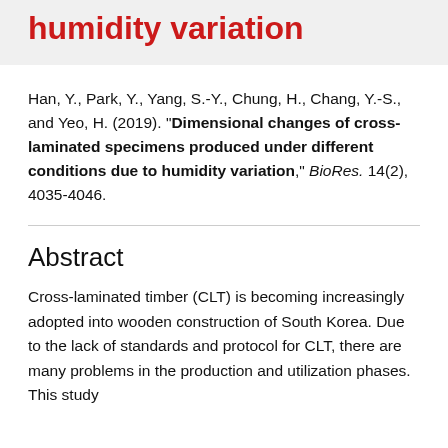humidity variation
Han, Y., Park, Y., Yang, S.-Y., Chung, H., Chang, Y.-S., and Yeo, H. (2019). "Dimensional changes of cross-laminated specimens produced under different conditions due to humidity variation," BioRes. 14(2), 4035-4046.
Abstract
Cross-laminated timber (CLT) is becoming increasingly adopted into wooden construction of South Korea. Due to the lack of standards and protocol for CLT, there are many problems in the production and utilization phases. This study